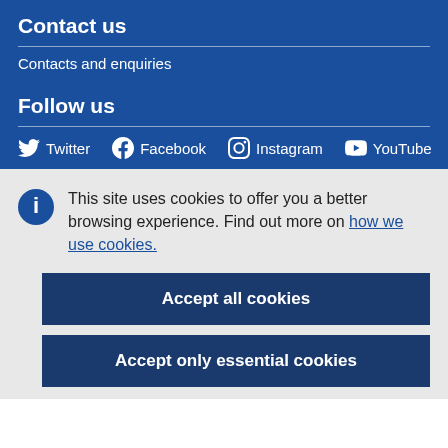Contact us
Contacts and enquiries
Follow us
Twitter  Facebook  Instagram  YouTube
This site uses cookies to offer you a better browsing experience. Find out more on how we use cookies.
Accept all cookies
Accept only essential cookies